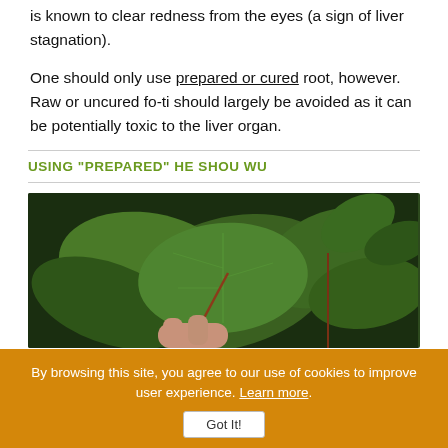is known to clear redness from the eyes (a sign of liver stagnation).
One should only use prepared or cured root, however. Raw or uncured fo-ti should largely be avoided as it can be potentially toxic to the liver organ.
USING "PREPARED" HE SHOU WU
[Figure (photo): Close-up photo of green leaves, likely fo-ti or he shou wu plant, held by a hand]
By browsing this site, you agree to our use of cookies to improve user experience. Learn more.